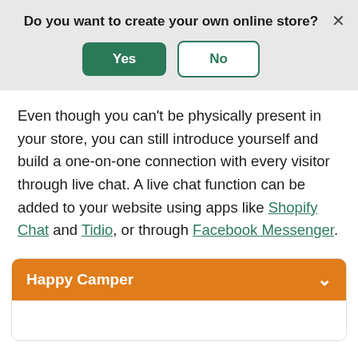Do you want to create your own online store?
[Figure (screenshot): Two buttons: 'Yes' (green filled) and 'No' (green outlined), with an X close button in the top right corner of a light grey banner]
Even though you can’t be physically present in your store, you can still introduce yourself and build a one-on-one connection with every visitor through live chat. A live chat function can be added to your website using apps like Shopify Chat and Tidio, or through Facebook Messenger.
Happy Camper